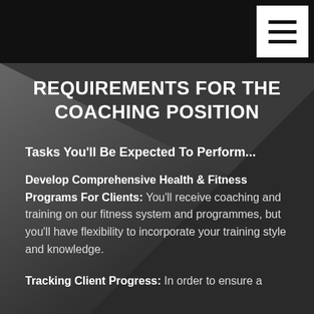REQUIREMENTS FOR THE COACHING POSITION
Tasks You'll Be Expected To Perform...
Develop Comprehensive Health & Fitness Programs For Clients: You'll receive coaching and training on our fitness system and programmes, but you'll have flexibility to incorporate your training style and knowledge.
Tracking Client Progress: In order to ensure a